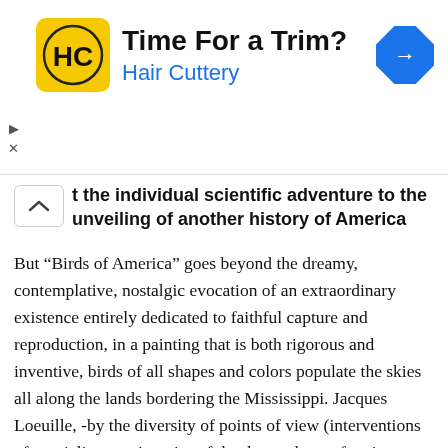[Figure (advertisement): Hair Cuttery ad banner with logo (HC in yellow square), headline 'Time For a Trim?', subtitle 'Hair Cuttery' in blue, and a blue navigation diamond icon on the right]
t the individual scientific adventure to the unveiling of another history of America
But “Birds of America” goes beyond the dreamy, contemplative, nostalgic evocation of an extraordinary existence entirely dedicated to faithful capture and reproduction, in a painting that is both rigorous and inventive, birds of all shapes and colors populate the skies all along the lands bordering the Mississippi. Jacques Loeuille, -by the diversity of points of view (interventions of specialists, testimonies of the descendants of native Amerindian peoples, voice-over of the fictitious companion), by the choice of sources and types of images retained (photographs and maps of the past , first sound and visual recordings of bird calls, views of preserved